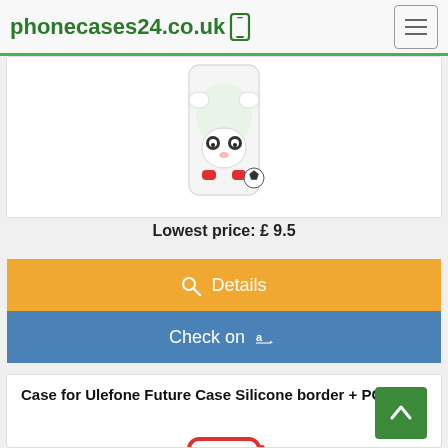phonecases24.co.uk
Lowest price: £ 9.5
Details
Check on Amazon
Case for Ulefone Future Case Silicone border + PC hard
[Figure (photo): Phone case product image showing a cartoon panda bear upside down on a white phone case]
[Figure (photo): Phone case product image showing a colorful case with red border and cartoon design for Ulefone Future]